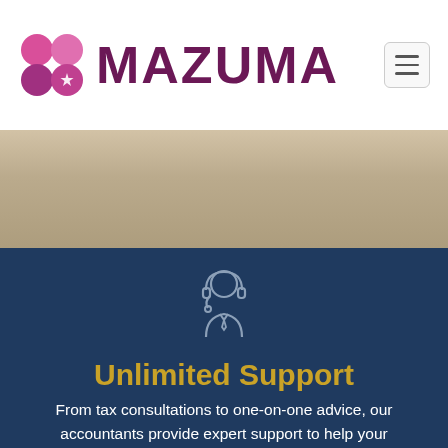MAZUMA
[Figure (photo): Background photo strip showing hands and plaid fabric, muted/desaturated]
[Figure (illustration): Line icon of a customer support agent wearing a headset, light gray outline on dark blue background]
Unlimited Support
From tax consultations to one-on-one advice, our accountants provide expert support to help your business build financial success.